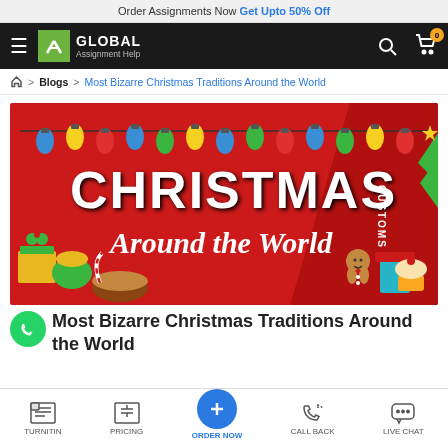Order Assignments Now Get Upto 50% Off
GLOBAL Assignment Help — navigation bar
🏠 > Blogs > Most Bizarre Christmas Traditions Around the World
[Figure (illustration): Red banner showing 'CHRISTMAS Customs Around the World' with colorful Christmas lights, gingerbread man, gifts, Christmas tree, and pie decorations]
Most Bizarre Christmas Traditions Around the World
TURNITIN | PRICING | ORDER NOW | CALL BACK | LIVE CHAT